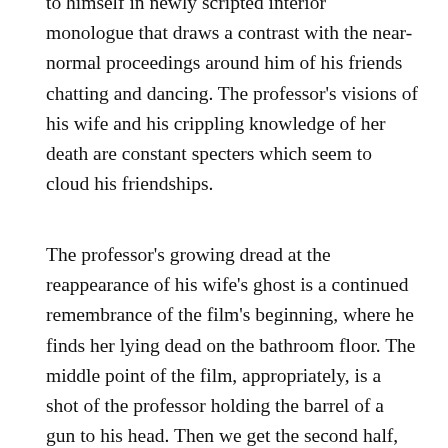to himself in newly scripted interior monologue that draws a contrast with the near-normal proceedings around him of his friends chatting and dancing. The professor's visions of his wife and his crippling knowledge of her death are constant specters which seem to cloud his friendships.
The professor's growing dread at the reappearance of his wife's ghost is a continued remembrance of the film's beginning, where he finds her lying dead on the bathroom floor. The middle point of the film, appropriately, is a shot of the professor holding the barrel of a gun to his head. Then we get the second half, quite literally a reversed remembrance of the events of the first half that are further distorted with gibberish dialogue and stilted movements. Throughout this portion of the movie the automatic response is to